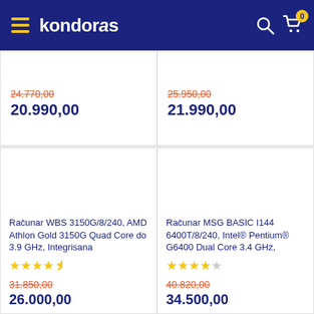kondoras
24.770,00
20.990,00
25.950,00
21.990,00
[Figure (photo): Product image placeholder for Računar WBS 3150G/8/240]
Računar WBS 3150G/8/240, AMD Athlon Gold 3150G Quad Core do 3.9 GHz, Integrisana
Rating: 4.5 stars
31.850,00
26.000,00
[Figure (photo): Product image placeholder for Računar MSG BASIC I144 6400T/8/240]
Računar MSG BASIC I144 6400T/8/240, Intel® Pentium® G6400 Dual Core 3.4 GHz,
Rating: 4 stars
40.820,00
34.500,00